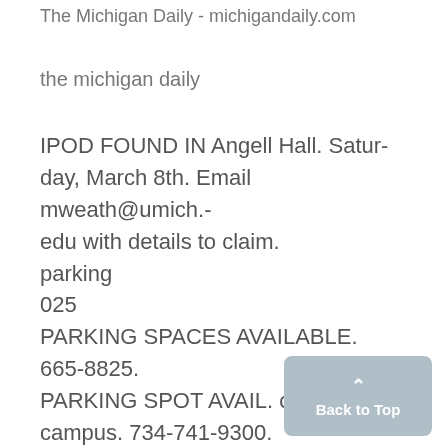The Michigan Daily - michigandaily.com
the michigan daily
IPOD FOUND IN Angell Hall. Saturday, March 8th. Email mweath@umich.edu with details to claim.
parking
025
PARKING SPACES AVAILABLE. 665-8825.
PARKING SPOT AVAIL. on central campus. 734-741-9300.
for renti